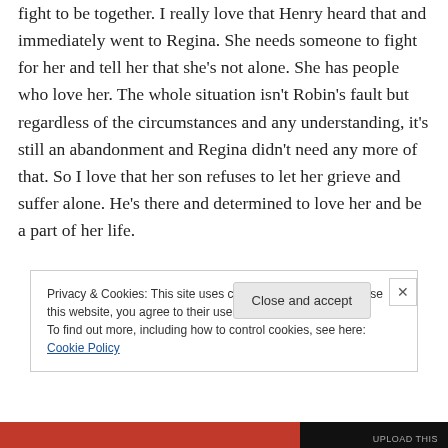fight to be together. I really love that Henry heard that and immediately went to Regina. She needs someone to fight for her and tell her that she's not alone. She has people who love her. The whole situation isn't Robin's fault but regardless of the circumstances and any understanding, it's still an abandonment and Regina didn't need any more of that. So I love that her son refuses to let her grieve and suffer alone. He's there and determined to love her and be a part of her life.
Privacy & Cookies: This site uses cookies. By continuing to use this website, you agree to their use.
To find out more, including how to control cookies, see here: Cookie Policy
Close and accept